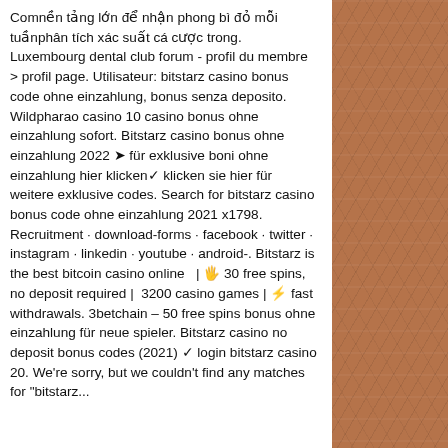Comnền tảng lớn để nhận phong bì đỏ mỗi tuầnphân tích xác suất cá cược trong. Luxembourg dental club forum - profil du membre &gt; profil page. Utilisateur: bitstarz casino bonus code ohne einzahlung, bonus senza deposito. Wildpharao casino 10 casino bonus ohne einzahlung sofort. Bitstarz casino bonus ohne einzahlung 2022 ➤ für exklusive boni ohne einzahlung hier klicken✓ klicken sie hier für weitere exklusive codes. Search for bitstarz casino bonus code ohne einzahlung 2021 x1798. Recruitment · download-forms · facebook · twitter · instagram · linkedin · youtube · android-. Bitstarz is the best bitcoin casino online  |  🖐 30 free spins, no deposit required |  3200 casino games | ⚡ fast withdrawals. 3betchain – 50 free spins bonus ohne einzahlung für neue spieler. Bitstarz casino no deposit bonus codes (2021) ✓ login bitstarz casino 20. We're sorry, but we couldn't find any matches for &quot;bitstarz...